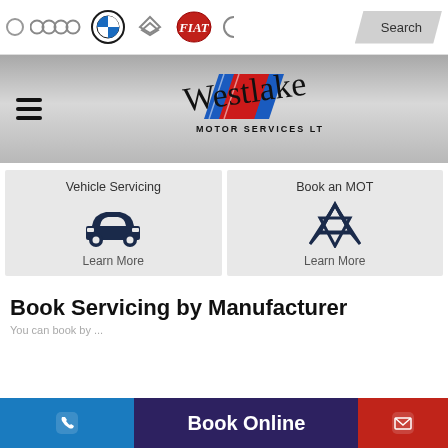[Figure (screenshot): Top navigation bar with car manufacturer logos (Audi, BMW, Citroen, Fiat, partial) and a Search button]
[Figure (logo): Westlake Motor Services Ltd logo with handwritten text and racing stripe graphic]
[Figure (infographic): Two service cards: Vehicle Servicing with car icon and Learn More link, and Book an MOT with MOT symbol and Learn More link]
Book Servicing by Manufacturer
You can book by...
[Figure (infographic): Bottom bar with phone icon (blue), Book Online button (dark purple), and mail icon (red)]